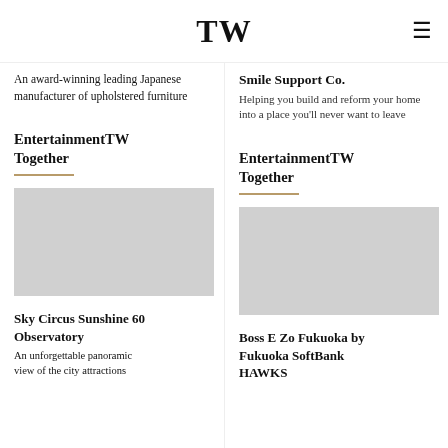TW
An award-winning leading Japanese manufacturer of upholstered furniture
Smile Support Co. Helping you build and reform your home into a place you'll never want to leave
EntertainmentTW Together
EntertainmentTW Together
[Figure (photo): Image placeholder for Sky Circus Sunshine 60 Observatory]
[Figure (photo): Image placeholder for Boss E Zo Fukuoka by Fukuoka SoftBank HAWKS]
Sky Circus Sunshine 60 Observatory
An unforgettable panoramic view of the city attractions
Boss E Zo Fukuoka by Fukuoka SoftBank HAWKS